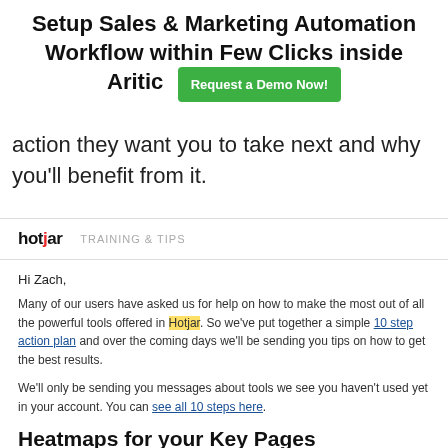Setup Sales & Marketing Automation Workflow within Few Clicks inside Aritic — Request a Demo Now!
action they want you to take next and why you'll benefit from it.
[Figure (logo): Hotjar logo with TRAINING & TIPS label]
Hi Zach,
Many of our users have asked us for help on how to make the most out of all the powerful tools offered in Hotjar. So we've put together a simple 10 step action plan and over the coming days we'll be sending you tips on how to get the best results.
We'll only be sending you messages about tools we see you haven't used yet in your account. You can see all 10 steps here.
Heatmaps for your Key Pages
Estimated time: 30 mins
Difficulty: Low